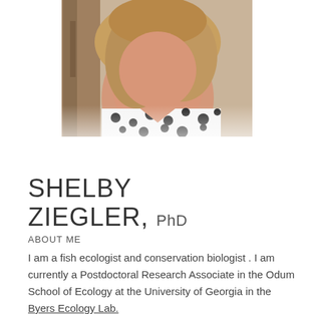[Figure (photo): Partial photo of Shelby Ziegler, showing neck and shoulders with a black and white polka dot top, standing near a tree]
SHELBY ZIEGLER, PhD
ABOUT ME
I am a fish ecologist and conservation biologist . I am currently a Postdoctoral Research Associate in the Odum School of Ecology at the University of Georgia in the Byers Ecology Lab.